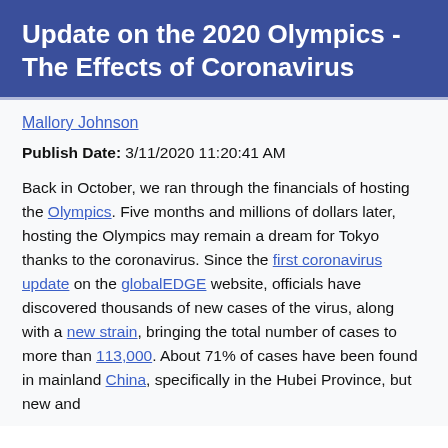Update on the 2020 Olympics - The Effects of Coronavirus
Mallory Johnson
Publish Date: 3/11/2020 11:20:41 AM
Back in October, we ran through the financials of hosting the Olympics. Five months and millions of dollars later, hosting the Olympics may remain a dream for Tokyo thanks to the coronavirus. Since the first coronavirus update on the globalEDGE website, officials have discovered thousands of new cases of the virus, along with a new strain, bringing the total number of cases to more than 113,000. About 71% of cases have been found in mainland China, specifically in the Hubei Province, but new and